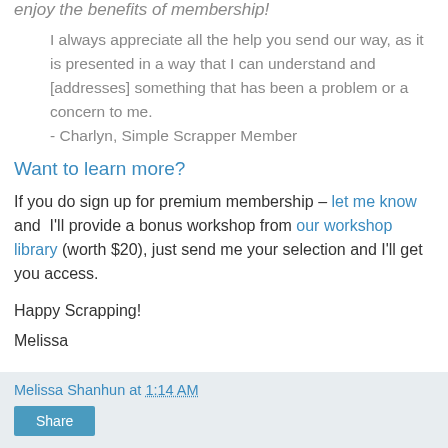enjoy the benefits of membership!
I always appreciate all the help you send our way, as it is presented in a way that I can understand and [addresses] something that has been a problem or a concern to me.
- Charlyn, Simple Scrapper Member
Want to learn more?
If you do sign up for premium membership – let me know and  I'll provide a bonus workshop from our workshop library (worth $20), just send me your selection and I'll get you access.
Happy Scrapping!
Melissa
Melissa Shanhun at 1:14 AM  Share